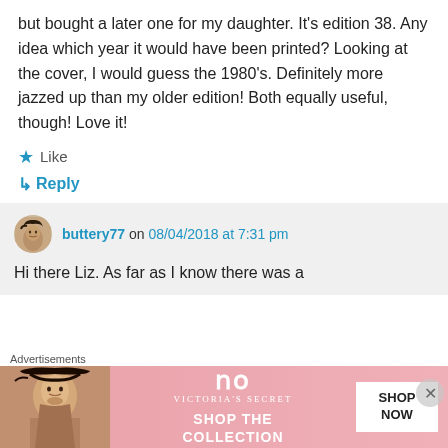but bought a later one for my daughter. It's edition 38. Any idea which year it would have been printed? Looking at the cover, I would guess the 1980's. Definitely more jazzed up than my older edition! Both equally useful, though! Love it!
★ Like
↳ Reply
buttery77 on 08/04/2018 at 7:31 pm
Hi there Liz. As far as I know there was a
[Figure (infographic): Victoria's Secret advertisement banner with a model photo on the left, VS logo and 'SHOP THE COLLECTION' text in the center, and a 'SHOP NOW' button on the right. 'Advertisements' label above.]